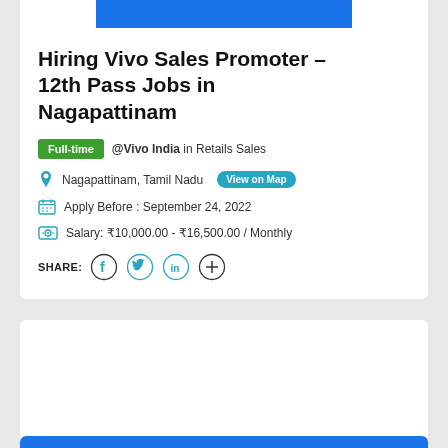Hiring Vivo Sales Promoter – 12th Pass Jobs in Nagapattinam
Full-time @Vivo India in Retails Sales
Nagapattinam, Tamil Nadu  View on Map
Apply Before : September 24, 2022
Salary: ₹10,000.00 - ₹16,500.00 / Monthly
SHARE: [Facebook] [Twitter] [LinkedIn] [Plus]